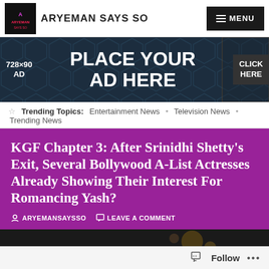ARYEMAN SAYS SO — MENU
[Figure (infographic): 728x90 AD banner — PLACE YOUR AD HERE — CLICK HERE with dark hexagonal pattern background]
Trending Topics: Entertainment News • Television News • Trending News
KGF Chapter 3: After Srinidhi Shetty's Exit, Several Bollywood A-List Actresses Already Showing Their Interest For Romancing Yash?
ARYEMANSAYSSO   LEAVE A COMMENT
[Figure (photo): Dark photo showing a person, partially visible at bottom of page]
Follow